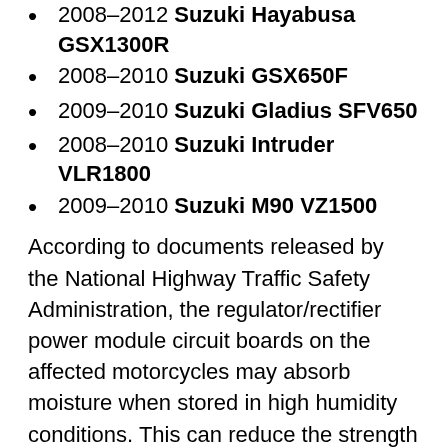2008-2012 Suzuki Hayabusa GSX1300R
2008-2010 Suzuki GSX650F
2009-2010 Suzuki Gladius SFV650
2008-2010 Suzuki Intruder VLR1800
2009-2010 Suzuki M90 VZ1500
According to documents released by the National Highway Traffic Safety Administration, the regulator/rectifier power module circuit boards on the affected motorcycles may absorb moisture when stored in high humidity conditions. This can reduce the strength of the adhesive attaching the circuit boards to the aluminum cases. Heat generated by the circuit boards